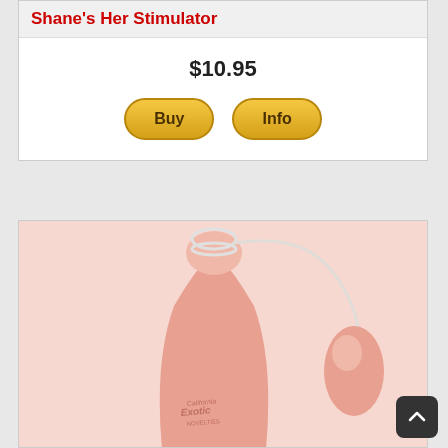Shane's Her Stimulator
$10.95
[Figure (photo): Product photo showing pink stimulator device with egg attachment and a ring connector, California Exotic brand label visible]
[Figure (screenshot): Scroll to top button in dark rounded square at bottom right]